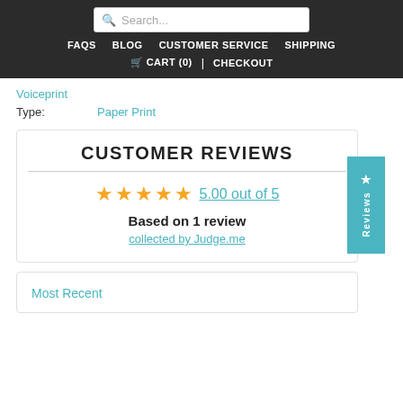Search... | FAQS  BLOG  CUSTOMER SERVICE  SHIPPING | CART (0) | CHECKOUT
Voiceprint
Type: Paper Print
CUSTOMER REVIEWS
5.00 out of 5
Based on 1 review
collected by Judge.me
Most Recent